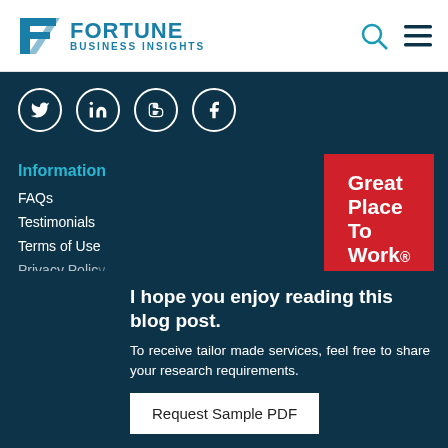[Figure (logo): Fortune Business Insights logo with teal F icon and company name]
[Figure (illustration): Social media icons: Twitter, LinkedIn, Blogger, Facebook in white circles on dark teal background]
Information
FAQs
Testimonials
Terms of Use
Privacy Polic...
[Figure (logo): Great Place To Work badge — red square with white text]
I hope you enjoy reading this blog post.
To receive tailor made services, feel free to share your research requirements.
Request Sample PDF